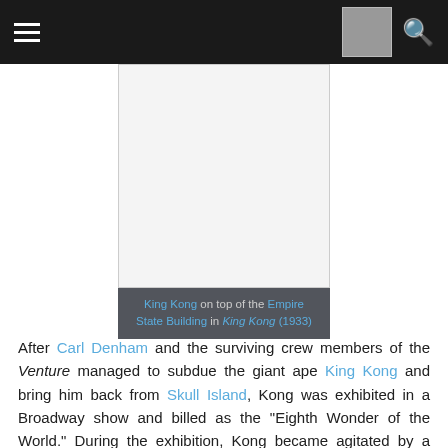Navigation header with hamburger menu, thumbnail image, and search icon
[Figure (photo): King Kong on top of the Empire State Building in King Kong (1933) — image placeholder shown as white/gray rectangle]
King Kong on top of the Empire State Building in King Kong (1933)
After Carl Denham and the surviving crew members of the Venture managed to subdue the giant ape King Kong and bring him back from Skull Island, Kong was exhibited in a Broadway show and billed as the "Eighth Wonder of the World." During the exhibition, Kong became agitated by a group of photographers taking pictures of Ann Darrow and broke free of his bindings. Kong rampaged through the theater and escaped onto the streets of New York. After destroying a train and scaling several buildings, Kong abducted Ann from a hotel room where she was hiding and proceeded to climb to the top of the Empire State Building. The military deployed a fleet of biplanes armed with machine guns to bring down the beast. Kong set Ann down and swatted at the planes